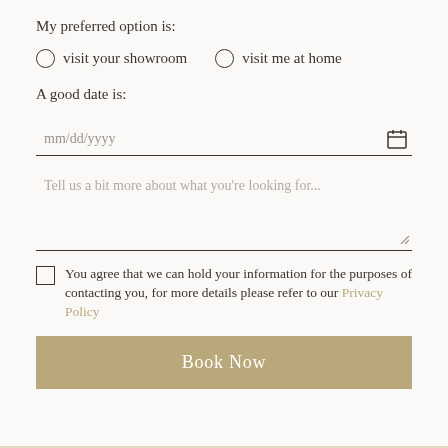My preferred option is:
visit your showroom
visit me at home
A good date is:
mm/dd/yyyy
Tell us a bit more about what you're looking for...
You agree that we can hold your information for the purposes of contacting you, for more details please refer to our Privacy Policy
Book Now